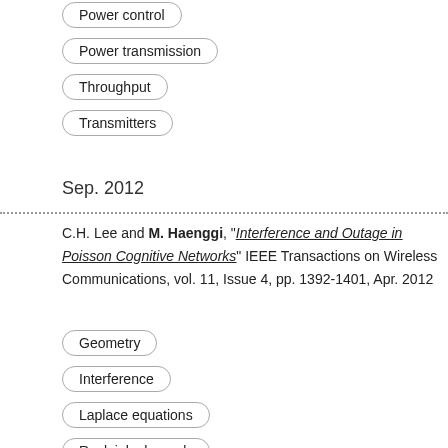Power control
Power transmission
Throughput
Transmitters
Sep. 2012
C.H. Lee and M. Haenggi, "Interference and Outage in Poisson Cognitive Networks" IEEE Transactions on Wireless Communications, vol. 11, Issue 4, pp. 1392-1401, Apr. 2012
Geometry
Interference
Laplace equations
Rayleigh channels